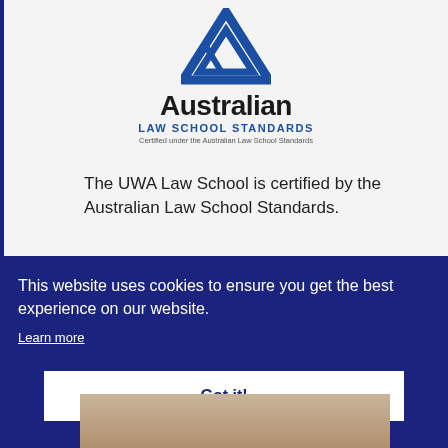[Figure (logo): Australian Law School Standards logo: blue triangle/arrow icon above bold text 'Australian' with 'LAW SCHOOL STANDARDS' in blue and 'Certified under the Australian Law School Standards' in small gray text below]
The UWA Law School is certified by the Australian Law School Standards.
This website uses cookies to ensure you get the best experience on our website.
Learn more
Got it!
[Figure (photo): Partial photo of a person's head/face, cropped at bottom of page]